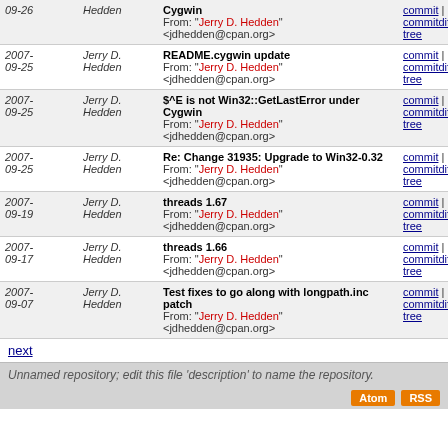| Date | Author | Message | Links |
| --- | --- | --- | --- |
| 2007-09-26 | Jerry D. Hedden | Cygwin
From: "Jerry D. Hedden" <jdhedden@cpan.org> | commit | commitdiff | tree |
| 2007-09-25 | Jerry D. Hedden | README.cygwin update
From: "Jerry D. Hedden" <jdhedden@cpan.org> | commit | commitdiff | tree |
| 2007-09-25 | Jerry D. Hedden | $^E is not Win32::GetLastError under Cygwin
From: "Jerry D. Hedden" <jdhedden@cpan.org> | commit | commitdiff | tree |
| 2007-09-25 | Jerry D. Hedden | Re: Change 31935: Upgrade to Win32-0.32
From: "Jerry D. Hedden" <jdhedden@cpan.org> | commit | commitdiff | tree |
| 2007-09-19 | Jerry D. Hedden | threads 1.67
From: "Jerry D. Hedden" <jdhedden@cpan.org> | commit | commitdiff | tree |
| 2007-09-17 | Jerry D. Hedden | threads 1.66
From: "Jerry D. Hedden" <jdhedden@cpan.org> | commit | commitdiff | tree |
| 2007-09-07 | Jerry D. Hedden | Test fixes to go along with longpath.inc patch
From: "Jerry D. Hedden" <jdhedden@cpan.org> | commit | commitdiff | tree |
next
Unnamed repository; edit this file 'description' to name the repository.